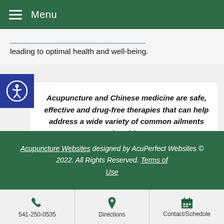Menu
leading to optimal health and well-being.
Acupuncture and Chinese medicine are safe, effective and drug-free therapies that can help address a wide variety of common ailments and problems.
Acupuncture Websites designed by AcuPerfect Websites © 2022. All Rights Reserved. Terms of Use
541-250-0535
Directions
Contact/Schedule